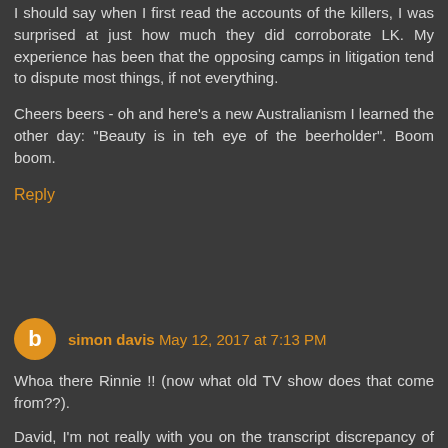I should say when I first read the accounts of the killers, I was surprised at just how much they did corroborate LK. My experience has been that the opposing camps in litigation tend to dispute most things, if not everything.
Cheers beers - oh and here's a new Australianism I learned the other day: "Beauty is in teh eye of the beerholder". Boom boom.
Reply
simon davis May 12, 2017 at 7:13 PM
Whoa there Rinnie !! (now what old TV show does that come from??).
David, I'm not really with you on the transcript discrepancy of Kasabian's evidence (the "it/him" thing). I'm old enough to recall the good old fashioned court stenographers (as in the funny guy in Flying High whose typewriter keeps shooting off). I'm in Australia of course but I can't imagine it was different in USA in 1970/71. Transcription errors were